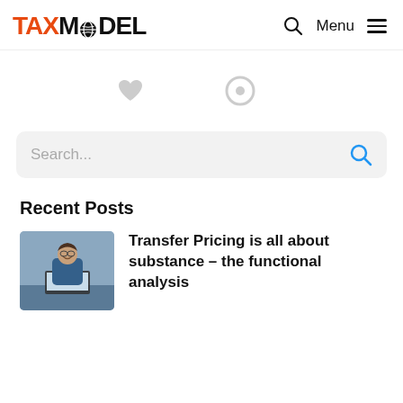TAXMODEL  Q  Menu
[Figure (screenshot): Two gray icons: a heart icon and a circle/location pin icon on white background]
Search...
Recent Posts
[Figure (photo): Photo of a man in a suit sitting at a laptop, smiling, in an office environment]
Transfer Pricing is all about substance – the functional analysis